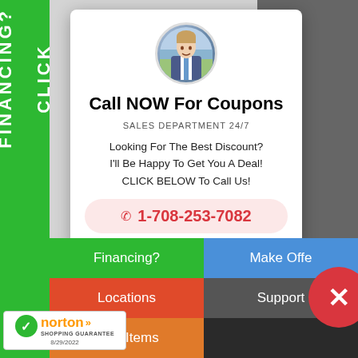[Figure (screenshot): Website popup overlay for a sales call-to-action with coupon offer, showing a portrait of a man, phone number 1-708-253-7082, and navigation buttons]
FINANCING? CLICK
Call NOW For Coupons
SALES DEPARTMENT 24/7
Looking For The Best Discount? I'll Be Happy To Get You A Deal! CLICK BELOW To Call Us!
1-708-253-7082
Financing?
Make Offer
Locations
Support
New Items
[Figure (logo): Norton Shopping Guarantee badge with checkmark, dated 8/29/2022]